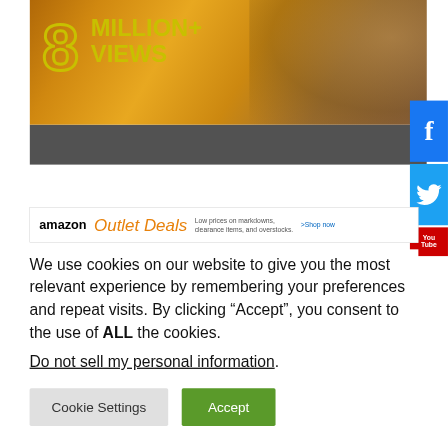[Figure (screenshot): Website screenshot showing a banner with '8 MILLION+ VIEWS' text in yellow on a warm golden/brown background with dark gray bar at bottom]
[Figure (screenshot): Facebook share button (blue with 'f' icon) on right side]
[Figure (screenshot): Twitter share button (blue with bird icon) on right side]
[Figure (screenshot): YouTube button (red with 'You Tube' text) on right side]
[Figure (screenshot): Amazon Outlet Deals advertisement banner: 'Low prices on markdowns, clearance items, and overstocks. >Shop now']
We use cookies on our website to give you the most relevant experience by remembering your preferences and repeat visits. By clicking “Accept”, you consent to the use of ALL the cookies.
Do not sell my personal information.
Cookie Settings
Accept